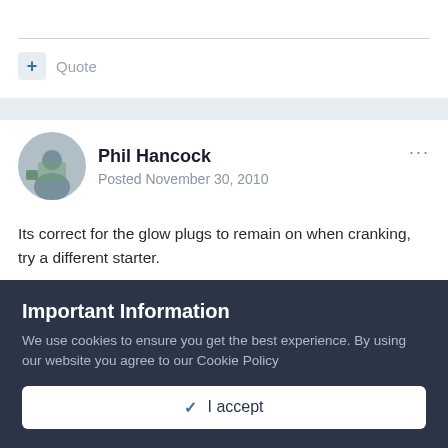+ Quote
Phil Hancock
Posted November 30, 2010
Its correct for the glow plugs to remain on when cranking, try a different starter.
+ Quote
Important Information
We use cookies to ensure you get the best experience. By using our website you agree to our Cookie Policy
✓ I accept